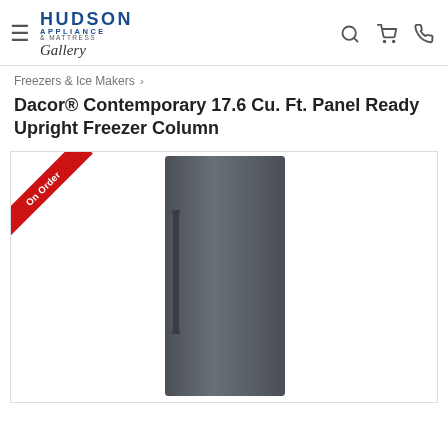Hudson Appliance & Mattress Gallery — navigation header
Freezers & Ice Makers >
Dacor® Contemporary 17.6 Cu. Ft. Panel Ready Upright Freezer Column
[Figure (photo): Dacor panel-ready upright freezer column in dark grey/graphite finish with vertical handle on left side. An 'On Order' red diagonal ribbon badge is shown in the top-left corner of the product image area.]